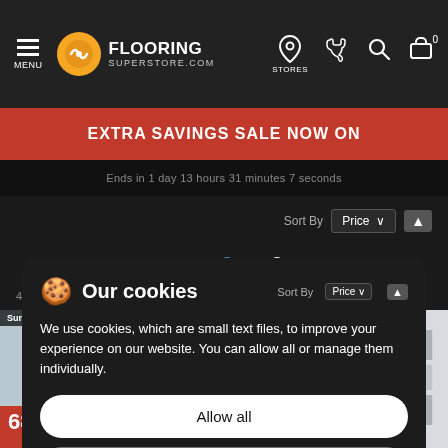MENU | FLOORING SUPERSTORE.COM | STORES
EXTRA SAVINGS SALE NOW ON
Ends in 1 day 13 hours 31 minutes 7 seconds
Sort By Price
Area  Measurements
Our cookies
We use cookies, which are small text files, to improve your experience on our website. You can allow all or manage them individually.
Allow all
Manage cookies
4 items match your selection
Summer Sale 68% Off
Summer Sale 68% Off